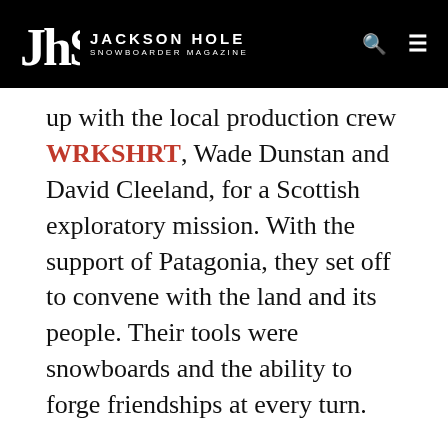JHSM JACKSON HOLE SNOWBOARDER MAGAZINE
up with the local production crew WRKSHRT, Wade Dunstan and David Cleeland, for a Scottish exploratory mission. With the support of Patagonia, they set off to convene with the land and its people. Their tools were snowboards and the ability to forge friendships at every turn.
It was a fitting collaboration. WRKSHRT captures human and wild connections in a fresh and captivating way. Yader and Roy